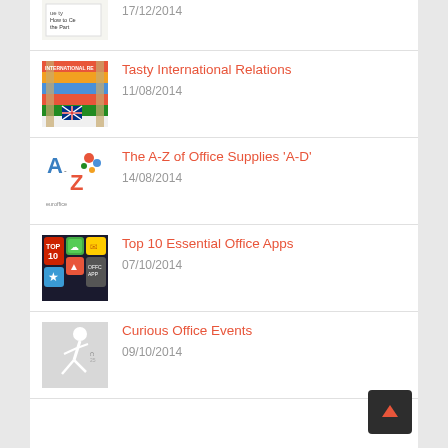[Figure (screenshot): Partial thumbnail of a blog post with handwritten text about 'How to' something, partially cropped at top]
17/12/2014
[Figure (photo): Thumbnail for Tasty International Relations post showing flags including UK flag]
Tasty International Relations
11/08/2014
[Figure (illustration): Thumbnail for A-Z of Office Supplies showing euroffice A-Z graphic with colorful letters]
The A-Z of Office Supplies 'A-D'
14/08/2014
[Figure (screenshot): Thumbnail for Top 10 Essential Office Apps showing app icons on dark background]
Top 10 Essential Office Apps
07/10/2014
[Figure (photo): Thumbnail for Curious Office Events showing person running/sliding in office]
Curious Office Events
09/10/2014